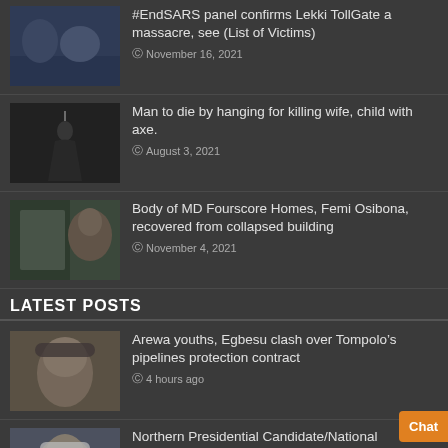[Figure (photo): News thumbnail showing people at a panel]
#EndSARS panel confirms Lekki TollGate a massacre, see (List of Victims)
November 16, 2021
[Figure (photo): Dark silhouette with hanging rope]
Man to die by hanging for killing wife, child with axe.
August 3, 2021
[Figure (photo): Man's portrait next to collapsed building]
Body of MD Fourscore Homes, Femi Osibona, recovered from collapsed building
November 4, 2021
LATEST POSTS
[Figure (photo): Man wearing a cap]
Arewa youths, Egbesu clash over Tompolo’s pipelines protection contract
4 hours ago
[Figure (photo): Man in cap smiling]
Northern Presidential Candidate/National Chairman Same Place Not Fair’ PDP BoT Chair said.